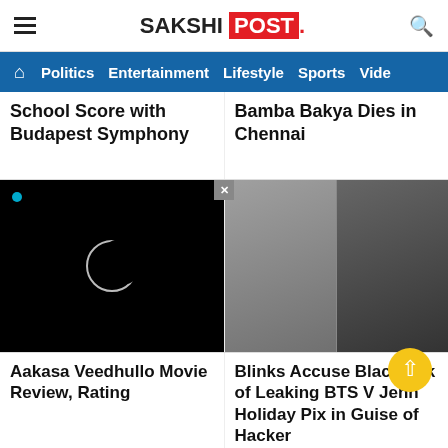SAKSHI POST
Politics  Entertainment  Lifestyle  Sports  Vide
School Score with Budapest Symphony
Bamba Bakya Dies in Chennai
[Figure (photo): Solar eclipse image on black background with crescent/ring visible]
[Figure (photo): Two photos of K-pop related people, one taking a mirror selfie with a friend, another of a blonde woman in black outfit]
Aakasa Veedhullo Movie Review, Rating
Blinks Accuse Blackpink of Leaking BTS V Jenn Holiday Pix in Guise of Hacker
[Figure (screenshot): Advertisement banner at bottom with blue background and play button controls, partial image content on left and right]